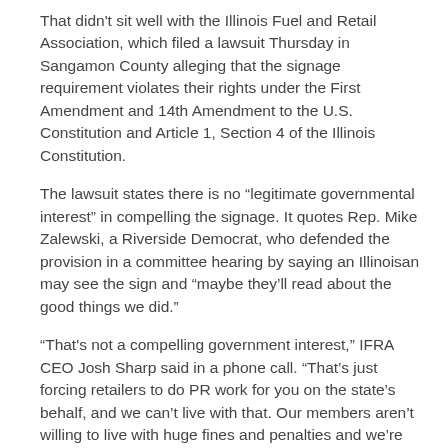That didn't sit well with the Illinois Fuel and Retail Association, which filed a lawsuit Thursday in Sangamon County alleging that the signage requirement violates their rights under the First Amendment and 14th Amendment to the U.S. Constitution and Article 1, Section 4 of the Illinois Constitution.
The lawsuit states there is no “legitimate governmental interest” in compelling the signage. It quotes Rep. Mike Zalewski, a Riverside Democrat, who defended the provision in a committee hearing by saying an Illinoisan may see the sign and “maybe they’ll read about the good things we did.”
“That's not a compelling government interest,” IFRA CEO Josh Sharp said in a phone call. “That’s just forcing retailers to do PR work for you on the state’s behalf, and we can’t live with that. Our members aren’t willing to live with huge fines and penalties and we’re suing to stop it.”
The lawsuit is aimed at the Illinois Department of Revenue and its director, David Harris, seeking an injunction to prevent the sticker mandates from taking effect. The suit also names Sangamon County State’s Attorney Dan Wright, who would be enforcing the mandate in the county.